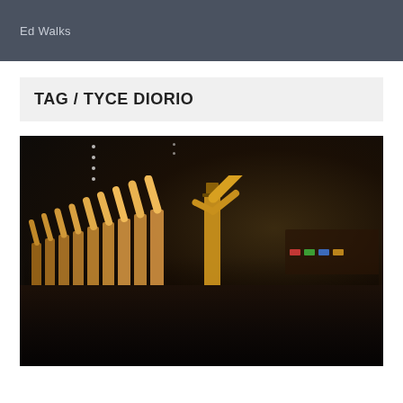Ed Walks
TAG / TYCE DIORIO
[Figure (photo): A line of dancers in gold/bronze costumes performing a high-kick routine on a dark stage. The dancers are arranged in a diagonal line from left to right, each kicking one leg high. A male dancer in a top hat leads on the right side. The stage floor reflects their image, and colored lights are visible in the background audience area.]